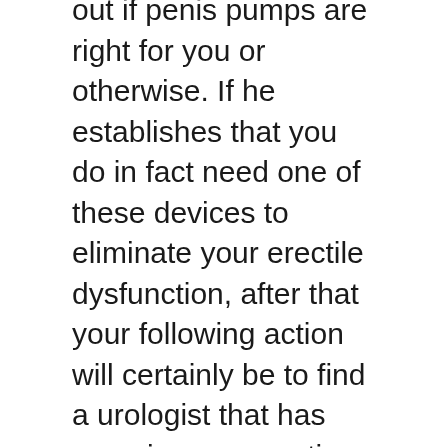out if penis pumps are right for you or otherwise. If he establishes that you do in fact need one of these devices to eliminate your erectile dysfunction, after that your following action will certainly be to find a urologist that has experience executing the treatment. Your physician should have the ability to provide you a couple of names of medical professionals that perform this kind of procedure. Your doctor might even have the ability to take you to among his previous individuals that has had actually the procedure done.
Prior to you make a consultation to have the procedure done, your medical professional will certainly want to examine you for any type of venereal diseases. This is to ensure